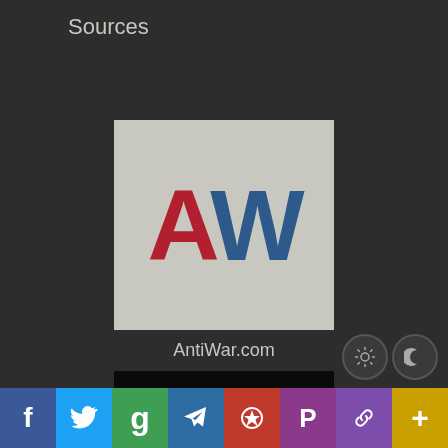Sources
[Figure (logo): AntiWar.com logo — light gray square with large bold 'A' in red and 'W' in steel blue]
AntiWar.com
[Figure (logo): Daily Caller logo — black square with large bold 'DC' in light gray/white]
Daily Caller
[Figure (logo): EFF logo — light gray square with large bold 'EFF' in red]
f  Twitter  g  Telegram  torch  P  links  +